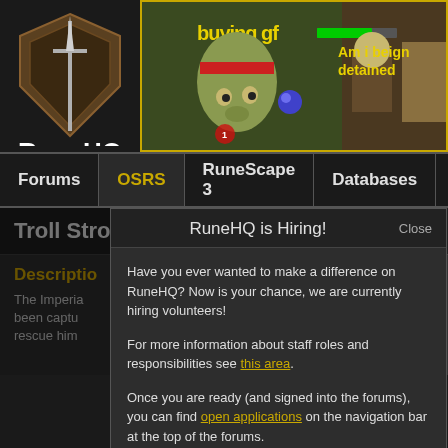[Figure (screenshot): RuneHQ website logo - shield with sword and RuneHQ text]
[Figure (screenshot): RuneScape game banner showing character with 'buying gf' and 'Am i beign detained' text on game background]
Forums | OSRS | RuneScape 3 | Databases | Calculators | T...
Troll Stronghold
Description
The Imperial... been captu... rescue him...
RuneHQ is Hiring!
Close
Have you ever wanted to make a difference on RuneHQ? Now is your chance, we are currently hiring volunteers!
For more information about staff roles and responsibilities see this area.
Once you are ready (and signed into the forums), you can find open applications on the navigation bar at the top of the forums.